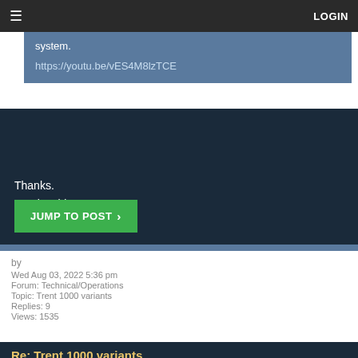≡  LOGIN
system.

https://youtu.be/vES4M8lzTCE
Thanks.
Catchy video...
JUMP TO POST ›
by
Wed Aug 03, 2022 5:36 pm
Forum: Technical/Operations
Topic: Trent 1000 variants
Replies: 9
Views: 1535
Re: Trent 1000 variants
Rated thrust is usually flat-rated. This means that some variants may offer the same rated thrust but up to higher density altitudes than others, to suit the needs of certain operators. This is generally done through software (and a bunch of money), by decreasing the maximum